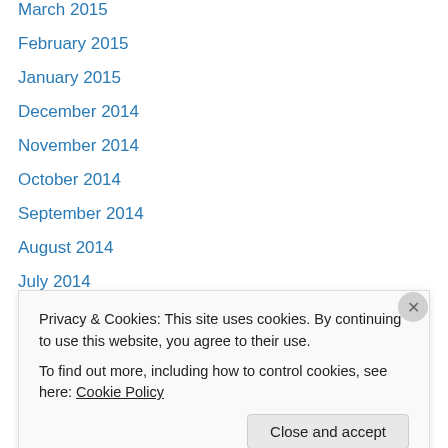March 2015
February 2015
January 2015
December 2014
November 2014
October 2014
September 2014
August 2014
July 2014
June 2014
May 2014
April 2014
March 2014
February 2014
Privacy & Cookies: This site uses cookies. By continuing to use this website, you agree to their use. To find out more, including how to control cookies, see here: Cookie Policy
Close and accept